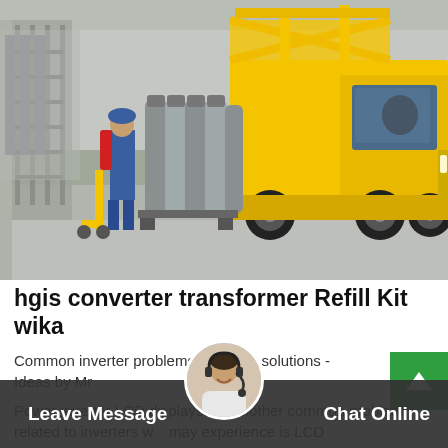[Figure (photo): Industrial warehouse scene with a yellow truck/van with an open yellow overhead structure, several gray gas cylinders on a trolley, a worker in blue, and metal scaffolding on the left. Concrete floor. Indoor industrial setting.]
hgis converter transformer Refill Kit wika
Common inverter problems and their solutions - Ideas by Mr .
Power inverter LCD displays ... s. Another common problem related to inverters w... may experience is LCD